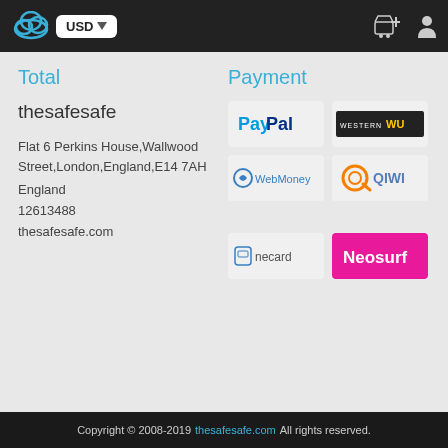USD (dropdown) | cart icon | user icon
Total
thesafesafe
Flat 6 Perkins House,Wallwood Street,London,England,E14 7AH
England
12613488
thesafesafe.com
Payment
[Figure (logo): PayPal payment logo]
[Figure (logo): Western Union payment logo]
[Figure (logo): WebMoney payment logo]
[Figure (logo): QIWI payment logo]
[Figure (logo): Onecard payment logo]
[Figure (logo): Neosurf payment logo]
Copyright © 2008-2019 thesafesafe.com All rights reserved.